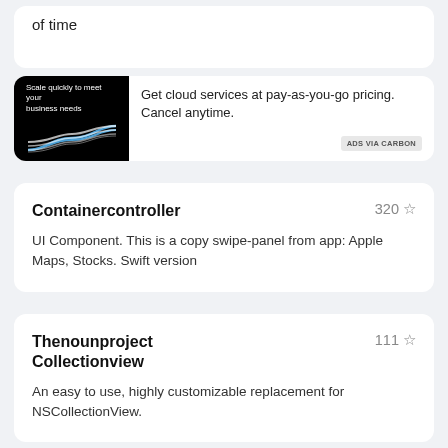[Figure (screenshot): Ad banner: black background with curved lines graphic and text 'Scale quickly to meet your business needs'. Ad text: 'Get cloud services at pay-as-you-go pricing. Cancel anytime.' with 'ADS VIA CARBON' label.]
of time
Containercontroller    320 ☆
UI Component. This is a copy swipe-panel from app: Apple Maps, Stocks. Swift version
Thenounproject Collectionview    111 ☆
An easy to use, highly customizable replacement for NSCollectionView.